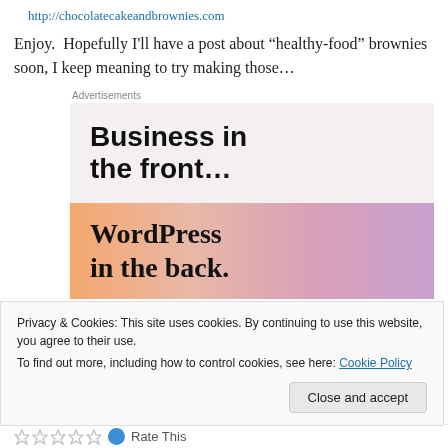http://chocolatecakeandbrownies.com
Enjoy.  Hopefully I'll have a post about “healthy-food” brownies soon, I keep meaning to try making those…
[Figure (screenshot): WordPress advertisement: 'Business in the front... WordPress in the back.' Top half has light pink background with bold sans-serif text, bottom half has orange/peach/pink gradient background with serif text.]
Privacy & Cookies: This site uses cookies. By continuing to use this website, you agree to their use.
To find out more, including how to control cookies, see here: Cookie Policy
Rate This